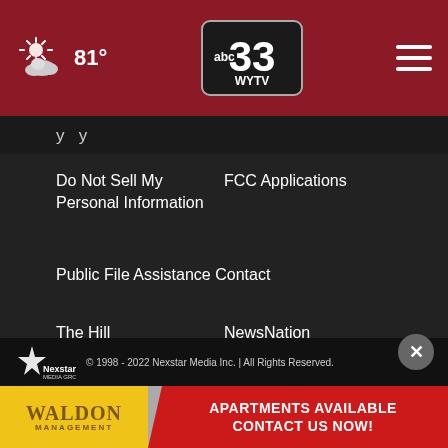abc33 WYTV | 81°
y   y
Do Not Sell My Personal Information
FCC Applications
Public File Assistance Contact
The Hill
NewsNation
BestReviews
Content Licensing
Nexstar Digital
© 1998 - 2022 Nexstar Media Inc. | All Rights Reserved.
[Figure (photo): Waldon Management apartment advertisement banner - APARTMENTS AVAILABLE CONTACT US NOW!]